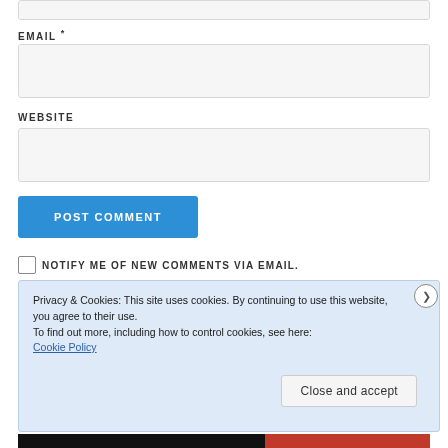EMAIL *
WEBSITE
POST COMMENT
NOTIFY ME OF NEW COMMENTS VIA EMAIL.
Privacy & Cookies: This site uses cookies. By continuing to use this website, you agree to their use.
To find out more, including how to control cookies, see here:
Cookie Policy
Close and accept